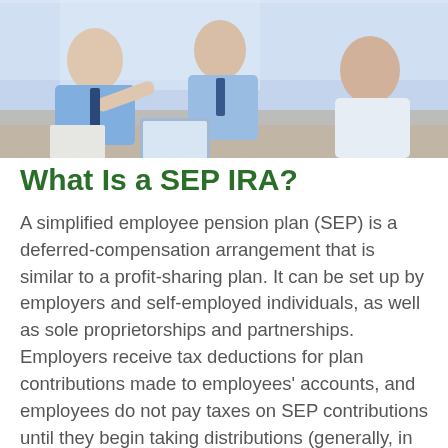[Figure (photo): Three businessmen in a meeting around a table, one gesturing while talking, others listening with a tablet visible on the table.]
What Is a SEP IRA?
A simplified employee pension plan (SEP) is a deferred-compensation arrangement that is similar to a profit-sharing plan. It can be set up by employers and self-employed individuals, as well as sole proprietorships and partnerships. Employers receive tax deductions for plan contributions made to employees' accounts, and employees do not pay taxes on SEP contributions until they begin taking distributions (generally, in